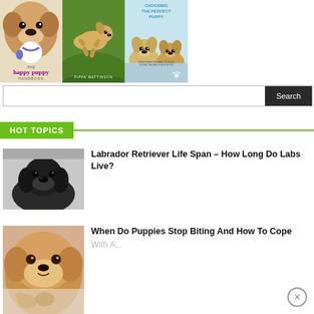[Figure (photo): Three dog/puppy book covers side by side: The Happy Puppy Handbook, a Pippa Mattinson book, and Choosing The Perfect Puppy]
[Figure (screenshot): Search bar with dark Search button]
HOT TOPICS
[Figure (photo): Black Labrador Retriever dog photo thumbnail]
Labrador Retriever Life Span – How Long Do Labs Live?
[Figure (photo): Golden dog/puppy photo thumbnail]
When Do Puppies Stop Biting And How To Cope With A...